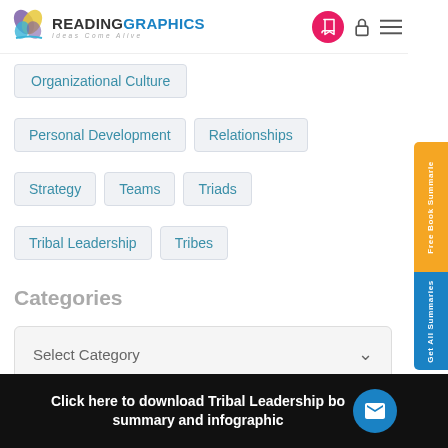READINGRAPHICS — Ideas Come Alive
Organizational Culture
Personal Development
Relationships
Strategy
Teams
Triads
Tribal Leadership
Tribes
Categories
Select Category
Free Book Summarie
Get All Summaries
Click here to download Tribal Leadership book summary and infographic